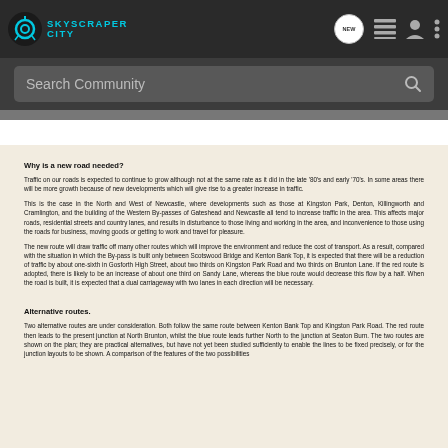SKYSCRAPER CITY — Navigation bar with logo, NEW badge, list icon, user icon, more icon
Search Community
Why is a new road needed?
Traffic on our roads is expected to continue to grow although not at the same rate as it did in the late '80's and early '70's. In some areas there will be more growth because of new developments which will give rise to a greater increase in traffic.
This is the case in the North and West of Newcastle, where developments such as those at Kingston Park, Denton, Killingworth and Cramlington, and the building of the Western By-passes of Gateshead and Newcastle all tend to increase traffic in the area. This affects major roads, residential streets and country lanes, and results in disturbance to those living and working in the area, and inconvenience to those using the roads for business, moving goods or getting to work and travel for pleasure.
The new route will draw traffic off many other routes which will improve the environment and reduce the cost of transport. As a result, compared with the situation in which the By-pass is built only between Scotswood Bridge and Kenton Bank Top, it is expected that there will be a reduction of traffic by about one-sixth in Gosforth High Street, about two thirds on Kingston Park Road and two thirds on Brunton Lane. If the red route is adopted, there is likely to be an increase of about one third on Sandy Lane, whereas the blue route would decrease this flow by a half. When the road is built, it is expected that a dual carriageway with two lanes in each direction will be necessary.
Alternative routes.
Two alternative routes are under consideration. Both follow the same route between Kenton Bank Top and Kingston Park Road. The red route then leads to the present junction at North Brunton, whilst the blue route leads further North to the junction at Seaton Burn. The two routes are shown on the plan; they are practical alternatives, but have not yet been studied sufficiently to enable the lines to be fixed precisely, or for the junction layouts to be shown. A comparison of the features of the two possibilities